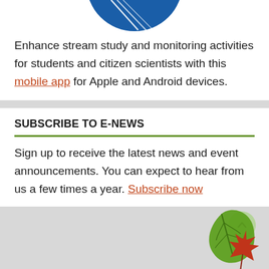[Figure (illustration): Partial blue circular logo/icon at the top of the page, showing the bottom portion of a blue circle with white line details]
Enhance stream study and monitoring activities for students and citizen scientists with this mobile app for Apple and Android devices.
SUBSCRIBE TO E-NEWS
Sign up to receive the latest news and event announcements. You can expect to hear from us a few times a year. Subscribe now
[Figure (illustration): Green and red maple leaf illustrations in the bottom-right corner, with a light green circular scroll-to-top button above them]